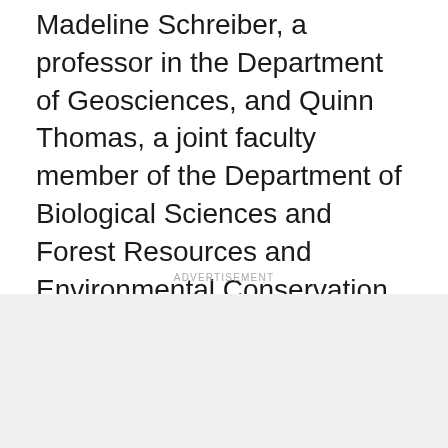Madeline Schreiber, a professor in the Department of Geosciences, and Quinn Thomas, a joint faculty member of the Department of Biological Sciences and Forest Resources and Environmental Conservation, the latter part of the College of Natural Resources and Environment. Thomas is also a Data Science Faculty Fellow in the College of Science.
ADVERTISEMENT